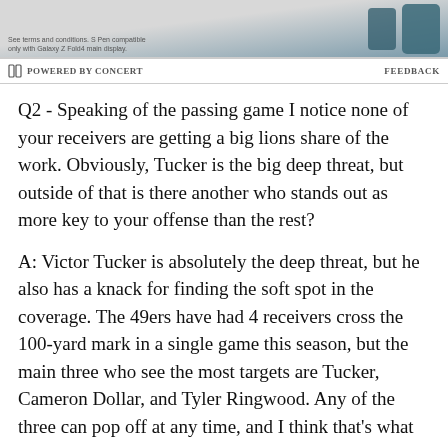[Figure (other): Advertisement image area showing a dark teal Samsung Galaxy Z Fold4 device with S Pen. Small disclaimer text reads: 'See terms and conditions. S Pen compatible only with Galaxy Z Fold4 main display.']
POWERED BY CONCERT    FEEDBACK
Q2 - Speaking of the passing game I notice none of your receivers are getting a big lions share of the work. Obviously, Tucker is the big deep threat, but outside of that is there another who stands out as more key to your offense than the rest?
A: Victor Tucker is absolutely the deep threat, but he also has a knack for finding the soft spot in the coverage. The 49ers have had 4 receivers cross the 100-yard mark in a single game this season, but the main three who see the most targets are Tucker, Cameron Dollar, and Tyler Ringwood. Any of the three can pop off at any time, and I think that's what makes them all so dangerous. There's plenty of first team...